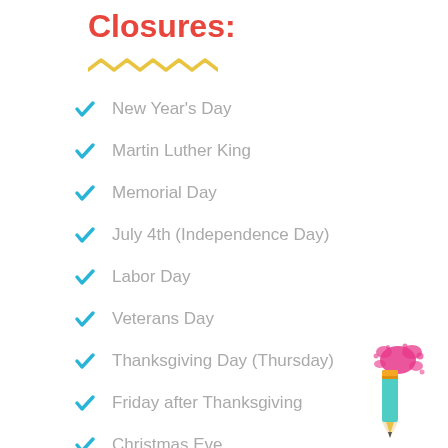Closures:
New Year's Day
Martin Luther King
Memorial Day
July 4th (Independence Day)
Labor Day
Veterans Day
Thanksgiving Day (Thursday)
Friday after Thanksgiving
Christmas Eve
Christmas Day
[Figure (illustration): A pencil illustration with pink paint splatter decoration in the bottom right corner]